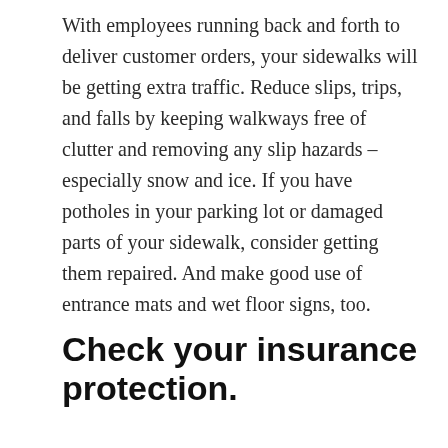With employees running back and forth to deliver customer orders, your sidewalks will be getting extra traffic. Reduce slips, trips, and falls by keeping walkways free of clutter and removing any slip hazards – especially snow and ice. If you have potholes in your parking lot or damaged parts of your sidewalk, consider getting them repaired. And make good use of entrance mats and wet floor signs, too.
Check your insurance protection.